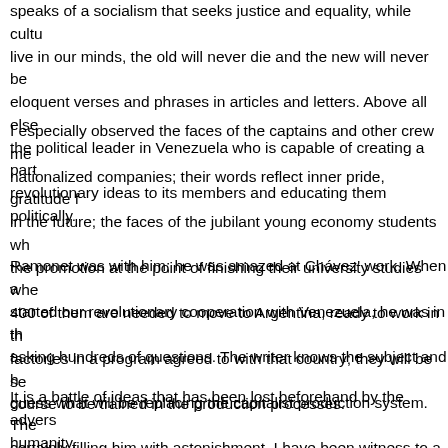speaks of a socialism that seeks justice and equality, while cultu live in our minds, the old will never die and the new will never be eloquent verses and phrases in articles and letters. Above all else the political leader in Venezuela who is capable of creating a part revolutionary ideas to its members and educating them politically.
I especially observed the faces of the captains and other crew me nationalized companies; their words reflect inner pride, gratitude f in the future; the faces of the jubilant young economy students wh the promotion at the point of finishing their university studies whe 400 of them are needed to move to Argentina, ready to work in th factories in a program agreed to with that country; they will be se course to be trained in the production processes.
Ramonet was with him; he was amazed at Chávez' work. When a started our revolutionary cooperation with Venezuela, he was in th asking hundreds of questions. The writer knows the subject and h guess what will be replacing the capitalist production system. The certainly filling him with astonishment. I have been witness to a u
It is a battle of ideas that has been lost beforehand by the advers humanity.